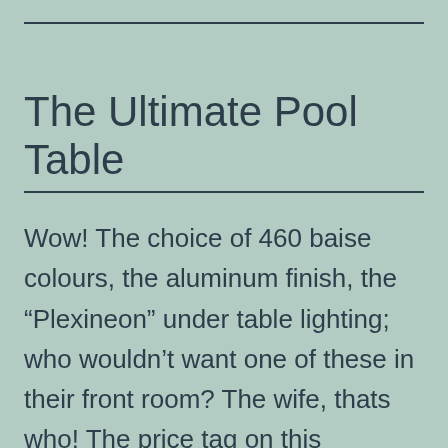The Ultimate Pool Table
Wow! The choice of 460 baise colours, the aluminum finish, the “Plexineon” under table lighting; who wouldn’t want one of these in their front room? The wife, thats who! The price tag on this MartinBauer Tournament Table will give her a good argument at a cheap mortgage sized $36,000!via